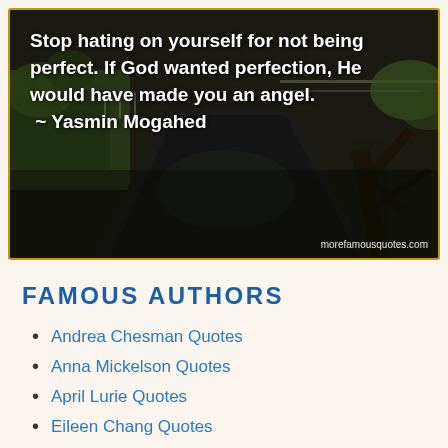[Figure (photo): Outdoor photo of a road/canal scene with dark trees and greenery, serving as background for an inspirational quote]
Stop hating on yourself for not being perfect. If God wanted perfection, He would have made you an angel.
 ~ Yasmin Mogahed
FAMOUS AUTHORS
Andrea Chesman Quotes
Anna Mickelson Quotes
April Lurie Quotes
Eileen Chang Quotes
Eric Dolphy Quotes